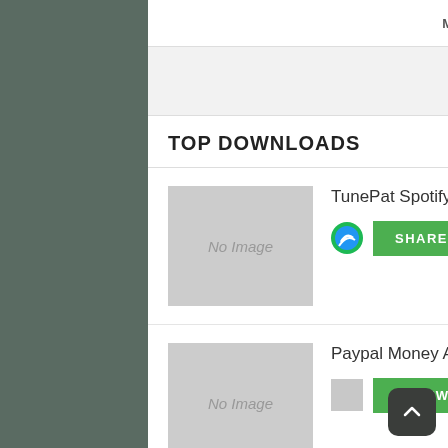MORE WINDOWS SOFTS
TOP DOWNLOADS
TunePat Spotify Converter for Mac 1.7.6 — SHAREWARE
Paypal Money Adder Download 4.6 — FREEWARE
ttdsoft Android Video Encryption Tool 5.0 — DEMO